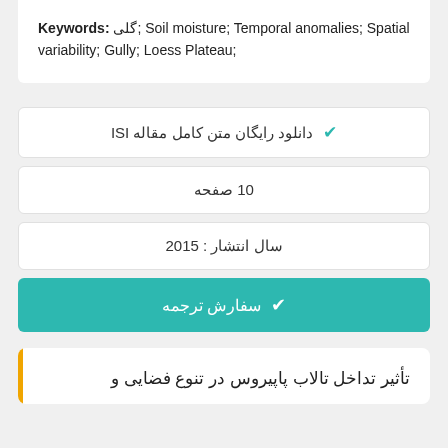Keywords: گلی; Soil moisture; Temporal anomalies; Spatial variability; Gully; Loess Plateau;
✔ دانلود رایگان متن کامل مقاله ISI
10 صفحه
سال انتشار : 2015
✔ سفارش ترجمه
تأثیر تداخل تالاب پاپیروس در تنوع فضایی و